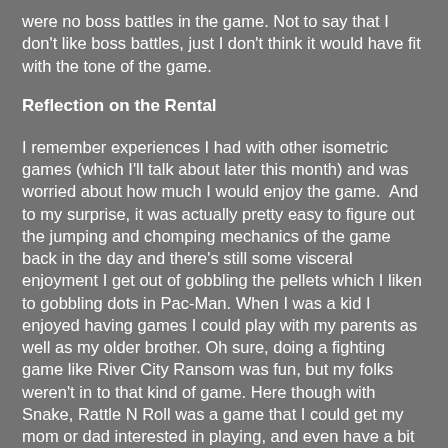were no boss battles in the game. Not to say that I don't like boss battles, just I don't think it would have fit with the tone of the game.
Reflection on the Rental
I remember experiences I had with other isometric games (which I'll talk about later this month) and was worried about how much I would enjoy the game.  And to my surprise, it was actually pretty easy to figure out the jumping and chomping mechanics of the game back in the day and there's still some visceral enjoyment I get out of gobbling the pellets which I liken to gobbling dots in Pac-Man. When I was a kid I enjoyed having games I could play with my parents as well as my older brother. Oh sure, doing a fighting game like River City Ransom was fun, but my folks weren't in to that kind of game. Here though with Snake, Rattle N Roll was a game that I could get my mom or dad interested in playing, and even have a bit of fun being competitive. It was well worth picking up as not only did evoke memories of that time when I wanted to play a video game with my folks, but it also was great seeing if I had